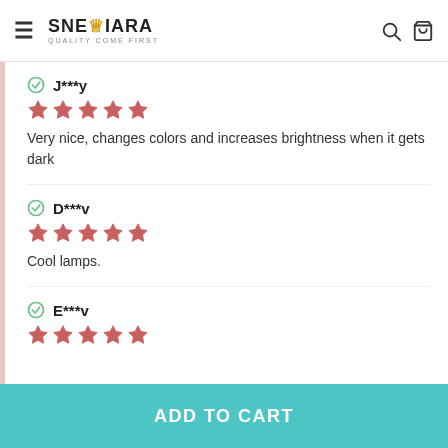SNETIARA — QUALITY COME FIRST
J***y — ★★★★★ — Very nice, changes colors and increases brightness when it gets dark
D***v — ★★★★★ — Cool lamps.
E***v — ★★★★★
ADD TO CART